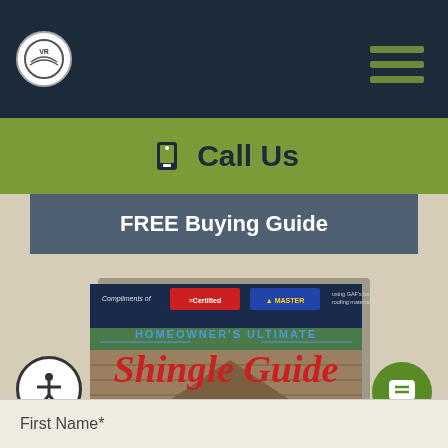VR Logo | Hamburger menu
📞 Call Us
FREE Buying Guide
[Figure (illustration): Cover of Homeowner's Ultimate Shingle Guide booklet showing a house with shingles, GAF Certified and MasterElite logos, tagline 'Find the perfect shingle for your home']
First Name*